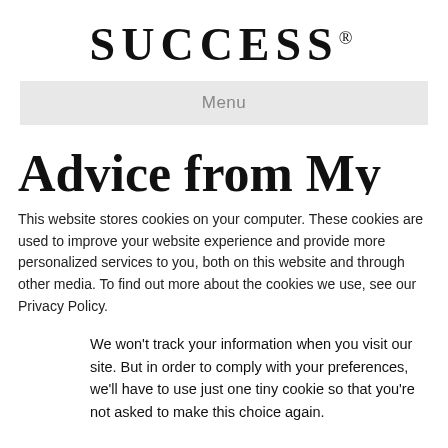SUCCESS®
Menu
Advice from My Dad for
This website stores cookies on your computer. These cookies are used to improve your website experience and provide more personalized services to you, both on this website and through other media. To find out more about the cookies we use, see our Privacy Policy.
We won't track your information when you visit our site. But in order to comply with your preferences, we'll have to use just one tiny cookie so that you're not asked to make this choice again.
Accept
Decline